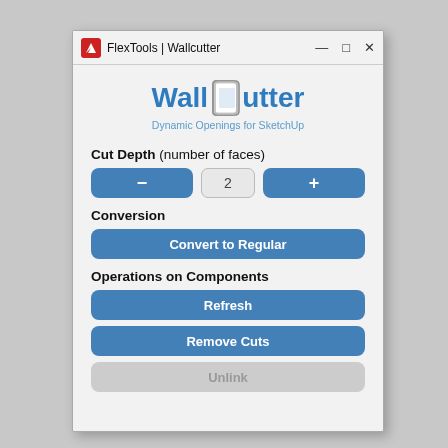[Figure (screenshot): FlexTools Wallcutter application window showing a dialog with WallCutter logo, Cut Depth stepper set to 2, Conversion section with 'Convert to Regular' button, Operations on Components section with Refresh, Remove Cuts, and Unlink buttons.]